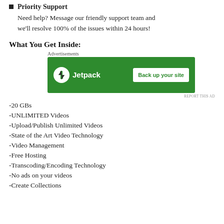Priority Support
Need help? Message our friendly support team and we'll resolve 100% of the issues within 24 hours!
What You Get Inside:
[Figure (other): Jetpack advertisement banner with 'Back up your site' button on green background]
-20 GBs
-UNLIMITED Videos
-Upload/Publish Unlimited Videos
-State of the Art Video Technology
-Video Management
-Free Hosting
-Transcoding/Encoding Technology
-No ads on your videos
-Create Collections